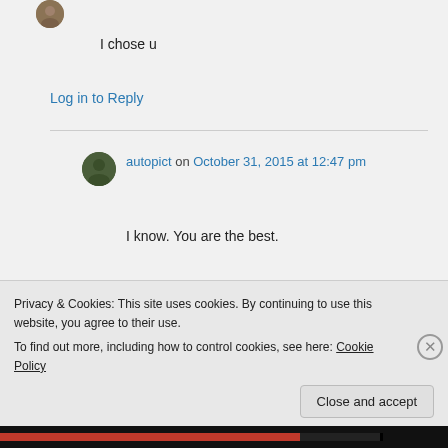[Figure (photo): User avatar icon, small circular brown/tan profile picture at top left]
I chose u
Log in to Reply
[Figure (photo): User avatar icon, small circular dark green profile picture for autopict]
autopict on October 31, 2015 at 12:47 pm
I know. You are the best.
Log in to Reply
Privacy & Cookies: This site uses cookies. By continuing to use this website, you agree to their use.
To find out more, including how to control cookies, see here: Cookie Policy